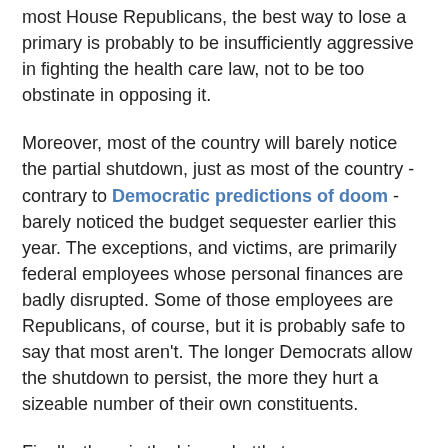most House Republicans, the best way to lose a primary is probably to be insufficiently aggressive in fighting the health care law, not to be too obstinate in opposing it.
Moreover, most of the country will barely notice the partial shutdown, just as most of the country - contrary to Democratic predictions of doom - barely noticed the budget sequester earlier this year. The exceptions, and victims, are primarily federal employees whose personal finances are badly disrupted. Some of those employees are Republicans, of course, but it is probably safe to say that most aren't. The longer Democrats allow the shutdown to persist, the more they hurt a sizeable number of their own constituents.
Finally, there is the bigger battle to come over raising the federal borrowing limit. Obama and his fellow Democrats insist that failure to raise the limit would be catastrophically bad for the...